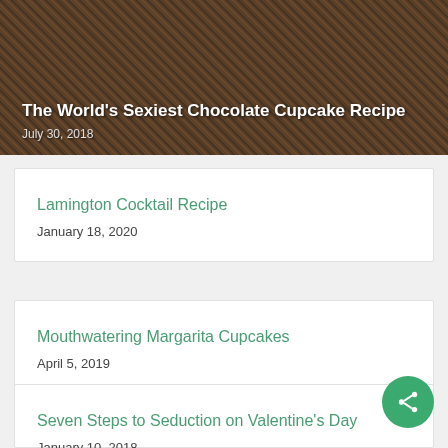[Figure (photo): Top image banner with dark overlay showing a person holding a cupcake, with text overlay showing article title and date]
The World's Sexiest Chocolate Cupcake Recipe
July 30, 2018
Lamington Cocktail Recipe
January 18, 2020
Mouthwatering Margarita Cupcakes
April 5, 2019
Seven Steps to Seduction on Valentine's Day
January 10, 2018